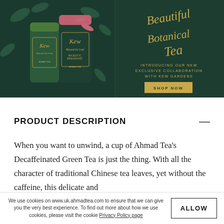[Figure (illustration): Ahmad Tea x Kew Gardens promotional banner. Left half shows two dark green tea tins with botanical leaf designs labeled 'Kew' and 'Ahmad Tea'. Right half has dark green background with gold script text 'Beautiful Botanical Tea', gold uppercase text 'INTRODUCING OUR NEW EXCLUSIVE COLLABORATION WITH KEW GARDENS', and a gold 'SHOP NOW' button.]
PRODUCT DESCRIPTION
When you want to unwind, a cup of Ahmad Tea's Decaffeinated Green Tea is just the thing. With all the character of traditional Chinese tea leaves, yet without the caffeine, this delicate and
We use cookies on www.uk.ahmadtea.com to ensure that we can give you the very best experience. To find out more about how we use cookies, please visit the cookie Privacy Policy page